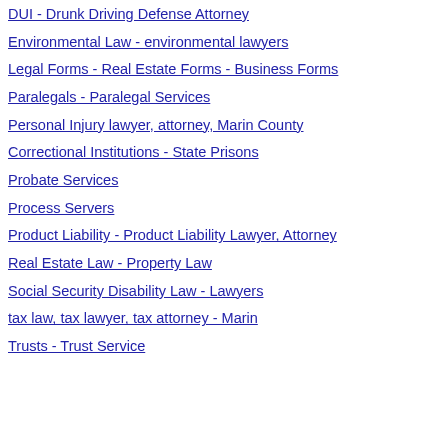DUI - Drunk Driving Defense Attorney
Environmental Law - environmental lawyers
Legal Forms - Real Estate Forms - Business Forms
Paralegals - Paralegal Services
Personal Injury lawyer, attorney, Marin County
Correctional Institutions - State Prisons
Probate Services
Process Servers
Product Liability - Product Liability Lawyer, Attorney
Real Estate Law - Property Law
Social Security Disability Law - Lawyers
tax law, tax lawyer, tax attorney - Marin
Trusts - Trust Service